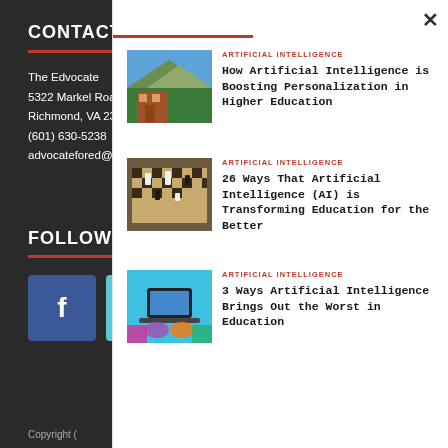CONTACT
The Edvocate
5322 Markel Road,
Richmond, VA 2323
(601) 630-5238
advocatefored@gr
FOLLOW US
[Figure (logo): Facebook button - blue square with white f icon]
[Figure (logo): Twitter button - cyan square with white bird icon]
Copyright (
✕
ARTIFICIAL INTELLIGENCE
How Artificial Intelligence is Boosting Personalization in Higher Education
[Figure (photo): Aerial view of university campus with mountains and trees]
ARTIFICIAL INTELLIGENCE
26 Ways That Artificial Intelligence (AI) is Transforming Education for the Better
[Figure (photo): Chess board with pieces]
ARTIFICIAL INTELLIGENCE
3 Ways Artificial Intelligence Brings Out the Worst in Education
[Figure (photo): Hands on laptop with colorful background - tech education concept]